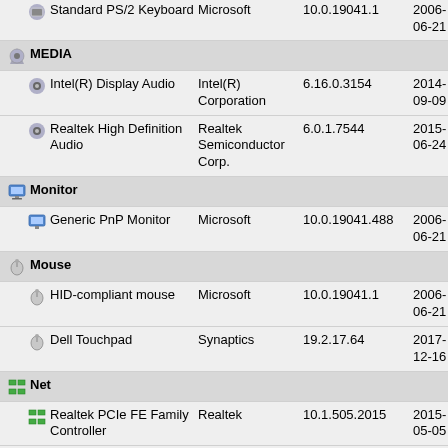Standard PS/2 Keyboard | Microsoft | 10.0.19041.1 | 2006-06-21
MEDIA (category)
Intel(R) Display Audio | Intel(R) Corporation | 6.16.0.3154 | 2014-09-09
Realtek High Definition Audio | Realtek Semiconductor Corp. | 6.0.1.7544 | 2015-06-24
Monitor (category)
Generic PnP Monitor | Microsoft | 10.0.19041.488 | 2006-06-21
Mouse (category)
HID-compliant mouse | Microsoft | 10.0.19041.1 | 2006-06-21
Dell Touchpad | Synaptics | 19.2.17.64 | 2017-12-16
Net (category)
Realtek PCIe FE Family Controller | Realtek | 10.1.505.2015 | 2015-05-05
Dell Wireless 1704 802.11b/g/n (2.4GHz) | Broadcom | 7.35.352.0 | 2016-11-22